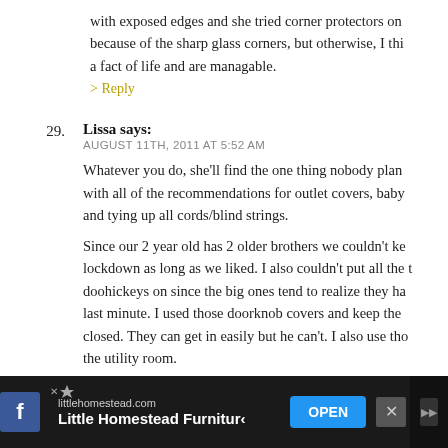with exposed edges and she tried corner protectors on because of the sharp glass corners, but otherwise, I think a fact of life and are managable.
> Reply
29. Lissa says: AUGUST 11TH, 2011 AT 5:52 AM
Whatever you do, she'll find the one thing nobody plan with all of the recommendations for outlet covers, baby and tying up all cords/blind strings.
Since our 2 year old has 2 older brothers we couldn't ke lockdown as long as we liked. I also couldn't put all the t doohickeys on since the big ones tend to realize they ha last minute. I used those doorknob covers and keep the closed. They can get in easily but he can't. I also use tho the utility room.
I also recommend the tot lock if you have cabinets – it's and since you can't see them – you get your own candi
[Figure (screenshot): Ad bar at bottom: Little Homestead Furniture ad with OPEN button, littlehomestead.com domain, Facebook icon, X close button, dark background]